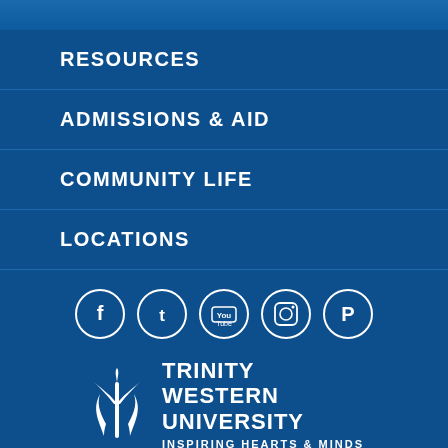RESOURCES
ADMISSIONS & AID
COMMUNITY LIFE
LOCATIONS
[Figure (illustration): Social media icons in circles: Facebook, Twitter, YouTube, Instagram, Pinterest]
[Figure (logo): Trinity Western University logo with stylized plant/flame icon and text TRINITY WESTERN UNIVERSITY, tagline INSPIRING HEARTS & MINDS]